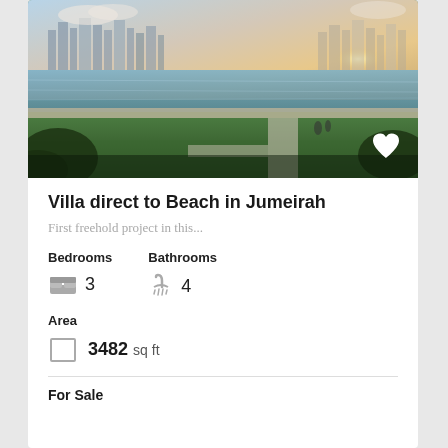[Figure (photo): Aerial/ground view of a beachfront villa property with a large lawn, waterfront, city skyline in background, sunset lighting]
Villa direct to Beach in Jumeirah
First freehold project in this...
Bedrooms 3   Bathrooms 4
Area 3482 sq ft
For Sale